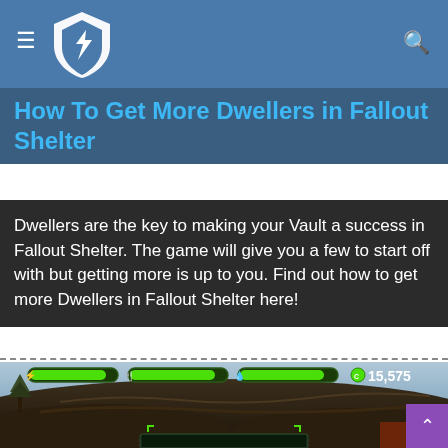How To Get More Dwellers in Fallout Shelter
How To Get More Dwellers in Fallout Shelter
Dwellers are the key to making your Vault a success in Fallout Shelter. The game will give you a few to start off with but getting more is up to you. Find out how to get more Dwellers in Fallout Shelter here!
[Figure (screenshot): Screenshot of Fallout Shelter game showing vault exterior with HUD bars and coin count of 15,575]